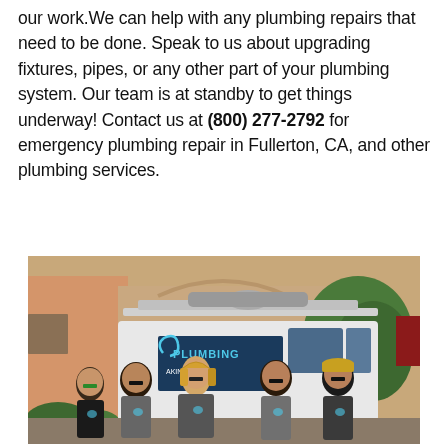our work.We can help with any plumbing repairs that need to be done. Speak to us about upgrading fixtures, pipes, or any other part of your plumbing system. Our team is at standby to get things underway! Contact us at (800) 277-2792 for emergency plumbing repair in Fullerton, CA, and other plumbing services.
[Figure (photo): A team of five plumbing company employees standing in front of a white service van with 'PLUMBING Making a Difference' logo. The team consists of four men and one woman, all wearing company uniforms. The van has pipe racks on the roof. The setting appears to be a commercial parking area with trees and a building in the background.]